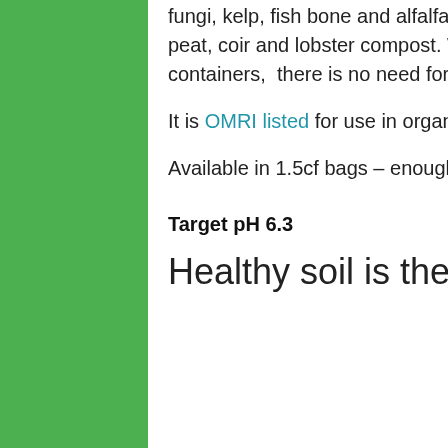fungi, kelp, fish bone and alfalfa meal, as well as worm castings, peat, coir and lobster compost. When growing in 15 gallon containers,  there is no need for additional nutrients.
It is OMRI listed for use in organic gardens
Available in 1.5cf bags – enough to fill a 10 gallon pot.
Target pH 6.3
Healthy soil is the key to healthy